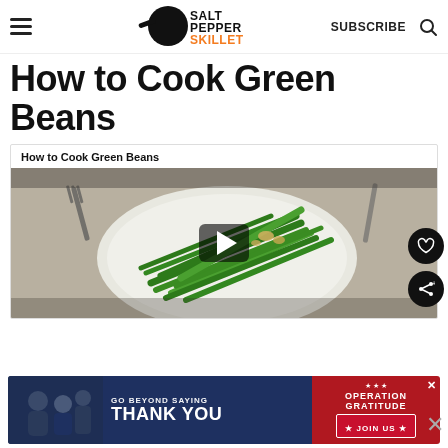Salt Pepper Skillet — SUBSCRIBE
How to Cook Green Beans
How to Cook Green Beans
[Figure (photo): Video thumbnail showing cooked green beans on a white plate with a play button overlay. Utensils visible in background.]
[Figure (photo): Advertisement banner: GO BEYOND SAYING THANK YOU — Operation Gratitude JOIN US]